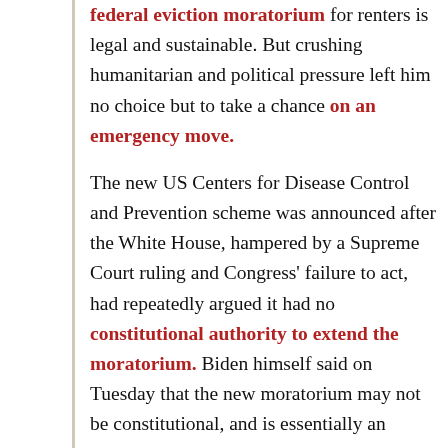federal eviction moratorium for renters is legal and sustainable. But crushing humanitarian and political pressure left him no choice but to take a chance on an emergency move.

The new US Centers for Disease Control and Prevention scheme was announced after the White House, hampered by a Supreme Court ruling and Congress' failure to act, had repeatedly argued it had no constitutional authority to extend the moratorium. Biden himself said on Tuesday that the new moratorium may not be constitutional, and is essentially an attempt to buy time to get backlogged funding out of state coffers and into the pockets of renters and landlords alike.

The conundrum threatened to force millions of Americans who lost incomes during the pandemic out of their homes in an appalling twist to what has already been an agonizing